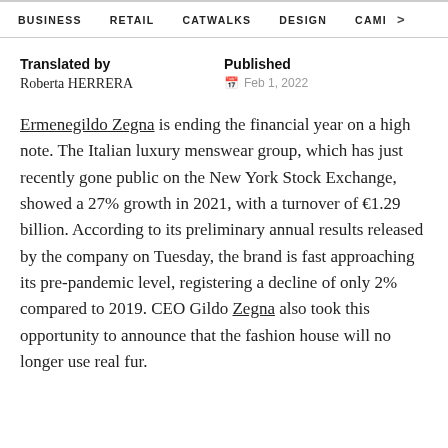BUSINESS   RETAIL   CATWALKS   DESIGN   CAMI >
Translated by
Roberta HERRERA
Published
Feb 1, 2022
Ermenegildo Zegna is ending the financial year on a high note. The Italian luxury menswear group, which has just recently gone public on the New York Stock Exchange, showed a 27% growth in 2021, with a turnover of €1.29 billion. According to its preliminary annual results released by the company on Tuesday, the brand is fast approaching its pre-pandemic level, registering a decline of only 2% compared to 2019. CEO Gildo Zegna also took this opportunity to announce that the fashion house will no longer use real fur.